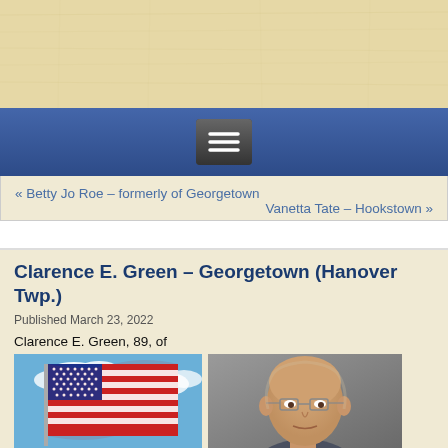[Figure (other): Tan/parchment textured banner at top of page]
[Figure (other): Dark blue navigation bar with hamburger menu button]
« Betty Jo Roe – formerly of Georgetown
Vanetta Tate – Hookstown »
Clarence E. Green – Georgetown (Hanover Twp.)
Published March 23, 2022
Clarence E. Green, 89, of
[Figure (photo): American flag waving against blue sky]
[Figure (photo): Portrait photo of elderly man, bald with glasses, against grey background]
Georgetown (Hanover Twp.)